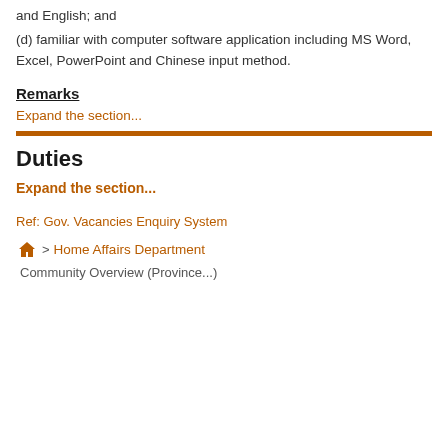and English; and
(d) familiar with computer software application including MS Word, Excel, PowerPoint and Chinese input method.
Remarks
Expand the section...
Duties
Expand the section...
Ref: Gov. Vacancies Enquiry System
> Home Affairs Department
Community Overview (Province...)